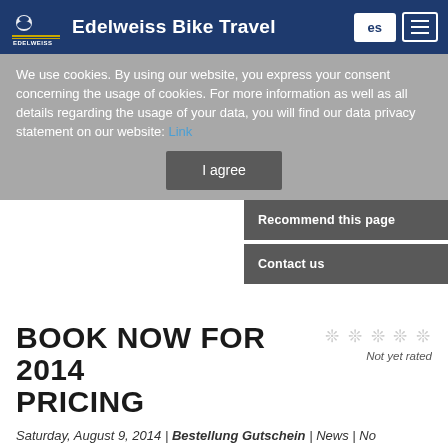Edelweiss Bike Travel
We use cookies. By using our website, you express your consent concerning the usage of cookies. For more information as well as all details regarding the usage of your data, you will find our data privacy statement on our website: Link
I agree
Recommend this page
Contact us
BOOK NOW FOR 2014 PRICING
Not yet rated
Saturday, August 9, 2014 | Bestellung Gutschein | News | No comments